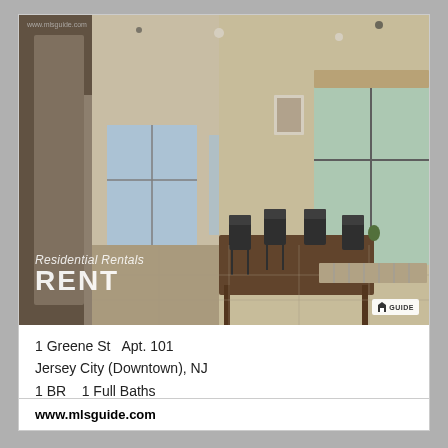[Figure (photo): Interior photo of a modern apartment showing an open plan living and dining area with large windows, wood dining table with black chairs, light tile floors, and a hallway leading to other rooms. Overlay text reads 'Residential Rentals' and 'RENT' in white. MLS Guide logo in bottom right corner.]
1 Greene St  Apt. 101
Jersey City (Downtown), NJ
1 BR   1 Full Baths
www.mlsguide.com